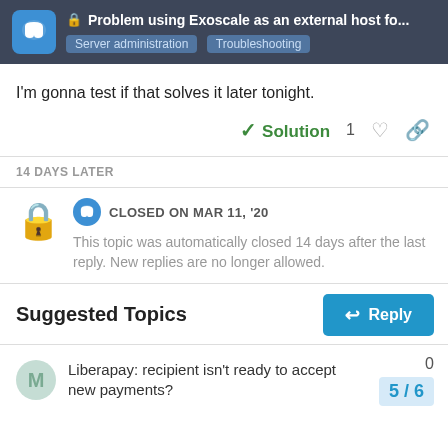Problem using Exoscale as an external host fo... | Server administration | Troubleshooting
I'm gonna test if that solves it later tonight.
Solution  1
14 DAYS LATER
CLOSED ON MAR 11, '20
This topic was automatically closed 14 days after the last reply. New replies are no longer allowed.
Suggested Topics
Liberapay: recipient isn't ready to accept new payments?  0
5 / 6